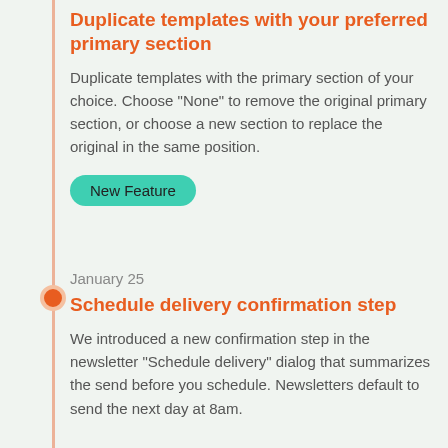Duplicate templates with your preferred primary section
Duplicate templates with the primary section of your choice. Choose "None" to remove the original primary section, or choose a new section to replace the original in the same position.
New Feature
January 25
Schedule delivery confirmation step
We introduced a new confirmation step in the newsletter "Schedule delivery" dialog that summarizes the send before you schedule. Newsletters default to send the next day at 8am.